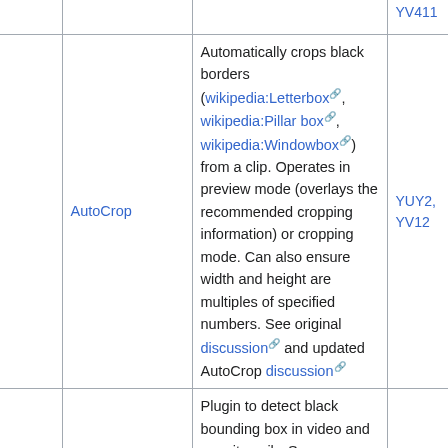| (col1) | Plugin | Description | Colorspace |
| --- | --- | --- | --- |
|  |  |  | YV411 |
|  | AutoCrop | Automatically crops black borders (wikipedia:Letterbox, wikipedia:Pillar box, wikipedia:Windowbox) from a clip. Operates in preview mode (overlays the recommended cropping information) or cropping mode. Can also ensure width and height are multiples of specified numbers. See original discussion and updated AutoCrop discussion | YUY2, YV12 |
|  | CropDetect🔒 | Plugin to detect black bounding box in video and crop it easily. See discussion. Note, CropDetect small plugin merged within | RGB32 |